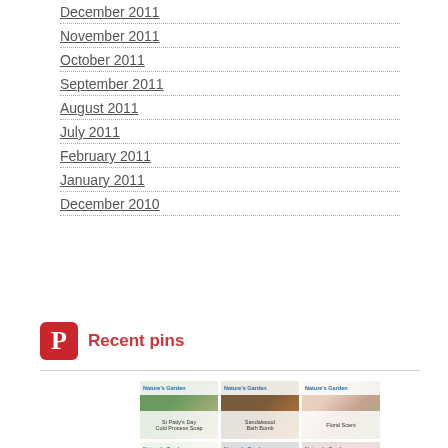December 2011
November 2011
October 2011
September 2011
August 2011
July 2011
February 2011
January 2011
December 2010
Recent pins
[Figure (photo): Grid of Nature's Garden product pin images: St Patty's Day Cold Process Soap, Sandalwood Bath Bomb, Floral Scent, Berry Jam, and other product thumbnails]